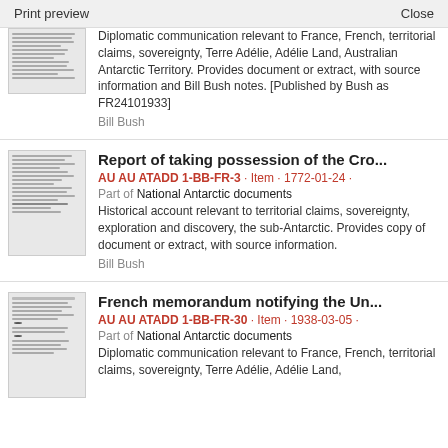Print preview   Close
Diplomatic communication relevant to France, French, territorial claims, sovereignty, Terre Adélie, Adélie Land, Australian Antarctic Territory. Provides document or extract, with source information and Bill Bush notes. [Published by Bush as FR24101933]
Bill Bush
Report of taking possession of the Cro...
AU AU ATADD 1-BB-FR-3 · Item · 1772-01-24 ·
Part of National Antarctic documents
Historical account relevant to territorial claims, sovereignty, exploration and discovery, the sub-Antarctic. Provides copy of document or extract, with source information.
Bill Bush
French memorandum notifying the Un...
AU AU ATADD 1-BB-FR-30 · Item · 1938-03-05 ·
Part of National Antarctic documents
Diplomatic communication relevant to France, French, territorial claims, sovereignty, Terre Adélie, Adélie Land,